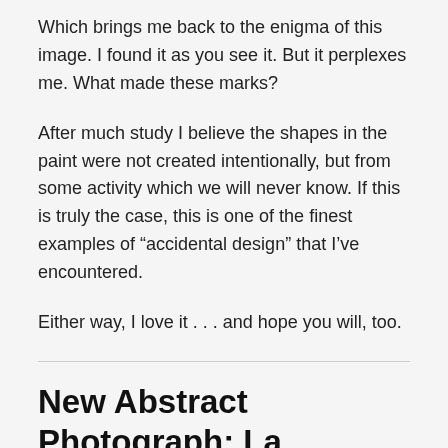Which brings me back to the enigma of this image. I found it as you see it. But it perplexes me. What made these marks?
After much study I believe the shapes in the paint were not created intentionally, but from some activity which we will never know. If this is truly the case, this is one of the finest examples of “accidental design” that I’ve encountered.
Either way, I love it . . . and hope you will, too.
New Abstract Photograph: La Hermosa Musica (Mono)
16 Jun 2017 | Abstract Photography, New Work